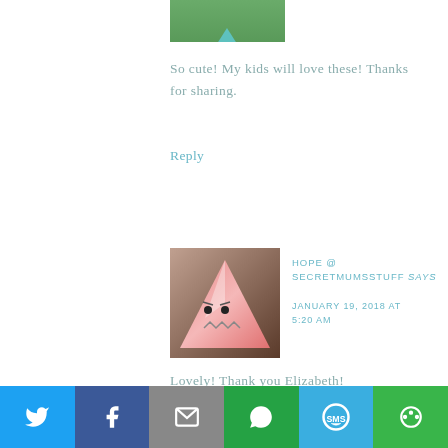[Figure (photo): Partial avatar image at top, green background with teal heart shape visible]
So cute! My kids will love these! Thanks for sharing.
Reply
[Figure (illustration): Avatar image showing a cartoon sad pink triangle face character on brown/gray gradient background]
HOPE @ SECRETMUMSSTUFF says
JANUARY 19, 2018 AT 5:20 AM
Lovely! Thank you Elizabeth!
[Figure (infographic): Social sharing bar with Twitter, Facebook, Email, WhatsApp, SMS, and More buttons]